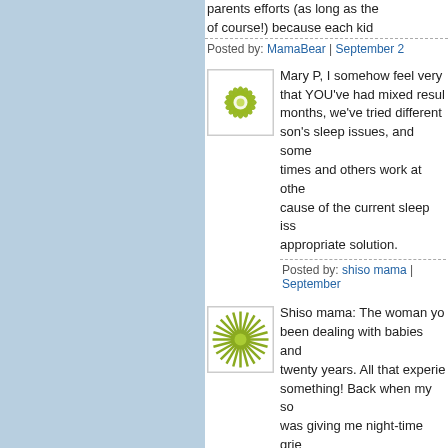parents efforts (as long as the of course!) because each kid
Posted by: MamaBear | September 2
[Figure (illustration): Green flower/mandala pattern avatar icon on white background]
Mary P, I somehow feel very that YOU've had mixed resul months, we've tried different son's sleep issues, and some times and others work at othe cause of the current sleep iss appropriate solution.
Posted by: shiso mama | September
[Figure (illustration): Green sunburst/starburst avatar icon with circle center on white background]
Shiso mama: The woman yo been dealing with babies and twenty years. All that experie something! Back when my so was giving me night-time grie than four years - and my first sleeper. I wasn't quite a newb experienced as I am now. Jus